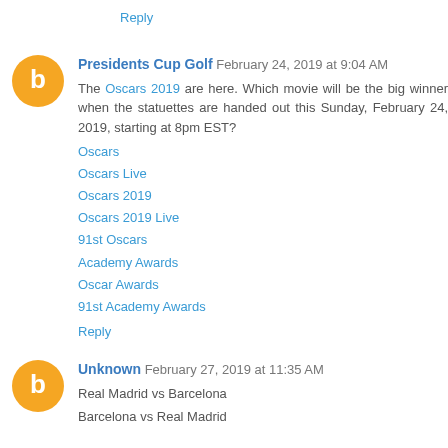Reply
Presidents Cup Golf February 24, 2019 at 9:04 AM
The Oscars 2019 are here. Which movie will be the big winner when the statuettes are handed out this Sunday, February 24, 2019, starting at 8pm EST?
Oscars
Oscars Live
Oscars 2019
Oscars 2019 Live
91st Oscars
Academy Awards
Oscar Awards
91st Academy Awards
Reply
Unknown February 27, 2019 at 11:35 AM
Real Madrid vs Barcelona
Barcelona vs Real Madrid